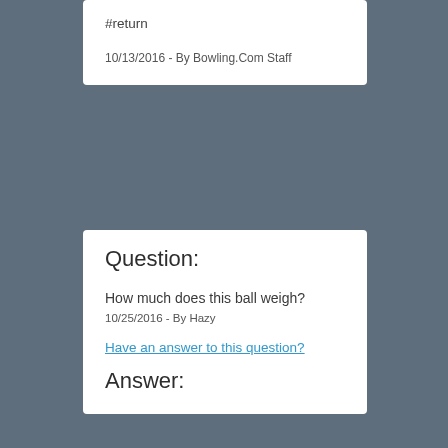#return
10/13/2016 - By Bowling.Com Staff
Question:
How much does this ball weigh?
10/25/2016 - By Hazy
Have an answer to this question?
Answer: